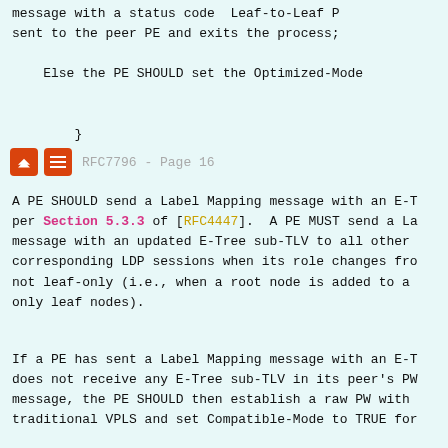message with a status code  Leaf-to-Leaf P sent to the peer PE and exits the process;
Else the PE SHOULD set the Optimized-Mode
}
RFC7796 - Page 16
A PE SHOULD send a Label Mapping message with an E-T per Section 5.3.3 of [RFC4447].  A PE MUST send a La message with an updated E-Tree sub-TLV to all other corresponding LDP sessions when its role changes fro not leaf-only (i.e., when a root node is added to a only leaf nodes).
If a PE has sent a Label Mapping message with an E-T does not receive any E-Tree sub-TLV in its peer's PW message, the PE SHOULD then establish a raw PW with traditional VPLS and set Compatible-Mode to TRUE for